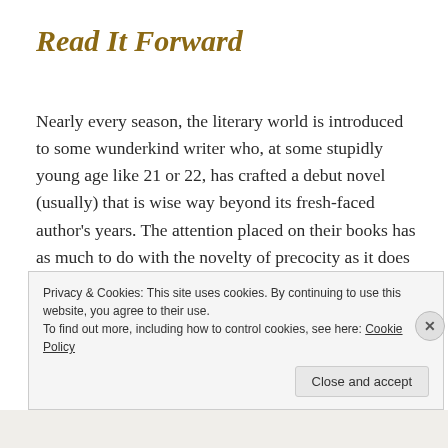Read It Forward
Nearly every season, the literary world is introduced to some wunderkind writer who, at some stupidly young age like 21 or 22, has crafted a debut novel (usually) that is wise way beyond its fresh-faced author's years. The attention placed on their books has as much to do with the novelty of precocity as it does with the merit of the work, if only because most of us, having lived through our early 20s without producing a masterpiece, know how difficult such a feat is to accomplish. Moreover,
Privacy & Cookies: This site uses cookies. By continuing to use this website, you agree to their use.
To find out more, including how to control cookies, see here: Cookie Policy
Close and accept